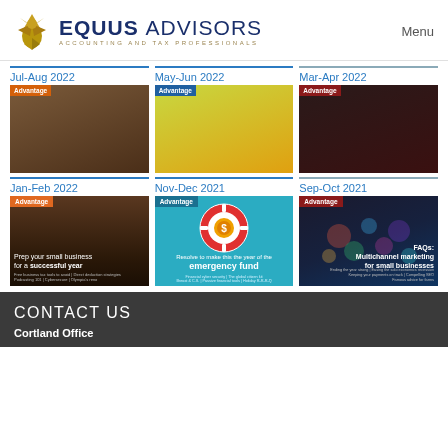[Figure (logo): Equus Advisors logo with golden eagle and text 'EQUUS ADVISORS ACCOUNTING AND TAX PROFESSIONALS']
Menu
Jul-Aug 2022
May-Jun 2022
Mar-Apr 2022
[Figure (photo): Advantage newsletter cover Jul-Aug 2022]
[Figure (photo): Advantage newsletter cover May-Jun 2022]
[Figure (photo): Advantage newsletter cover Mar-Apr 2022]
Jan-Feb 2022
Nov-Dec 2021
Sep-Oct 2021
[Figure (photo): Advantage newsletter cover Jan-Feb 2022 - Prep your small business for a successful year]
[Figure (photo): Advantage newsletter cover Nov-Dec 2021 - Resolve to make this the year of the emergency fund]
[Figure (photo): Advantage newsletter cover Sep-Oct 2021 - FAQs: Multichannel marketing for small businesses]
CONTACT US
Cortland Office